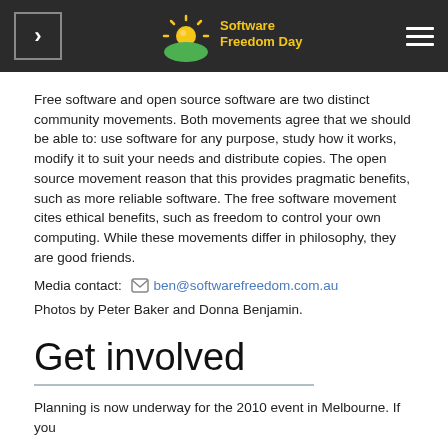Software Freedom Day
Free software and open source software are two distinct community movements. Both movements agree that we should be able to: use software for any purpose, study how it works, modify it to suit your needs and distribute copies. The open source movement reason that this provides pragmatic benefits, such as more reliable software. The free software movement cites ethical benefits, such as freedom to control your own computing. While these movements differ in philosophy, they are good friends.
Media contact: ben@softwarefreedom.com.au
Photos by Peter Baker and Donna Benjamin.
Get involved
Planning is now underway for the 2010 event in Melbourne. If you